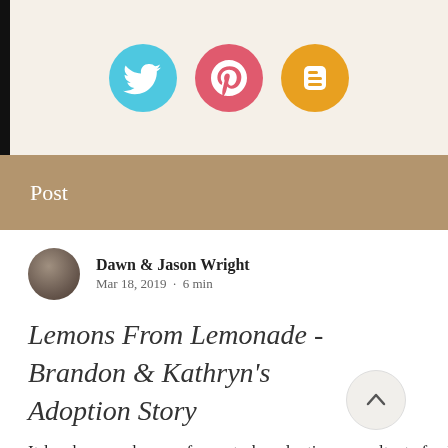[Figure (screenshot): Social media icon buttons: Twitter (blue bird), Pinterest (red P), Blogger (orange B) on cream background]
Post
Dawn & Jason Wright
Mar 18, 2019  ·  6 min
Lemons From Lemonade - Brandon & Kathryn's Adoption Story
It has been an honor of ours to be adoption consultants for Brandon and Kathryn and to see their family grow by the blessing of adoption. I (Dawn) had the privilege of also